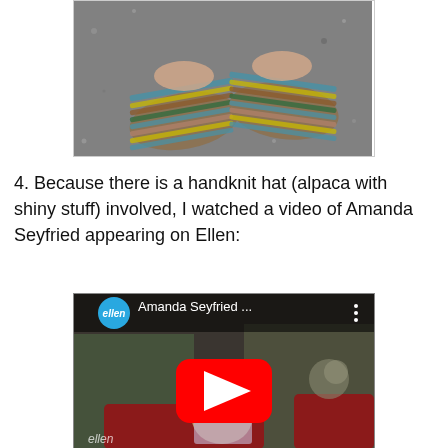[Figure (photo): Close-up photo of two feet wearing colorful multicolored striped knitted slipper socks on asphalt pavement]
4. Because there is a handknit hat (alpaca with shiny stuff) involved, I watched a video of Amanda Seyfried appearing on Ellen:
[Figure (screenshot): YouTube video thumbnail showing Amanda Seyfried on the Ellen show. The Ellen show logo appears in a blue circle top left. Title reads 'Amanda Seyfried ...' with a red YouTube play button in the center. The Ellen watermark appears at the bottom left.]